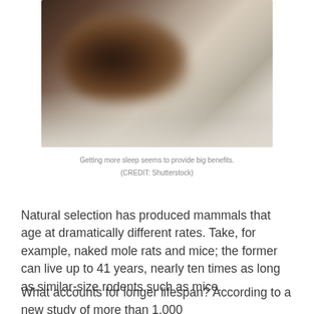[Figure (photo): Blurred photo of a person sleeping, lying in bed with soft light background]
Getting more sleep seems to provide big benefits.  (CREDIT: Shutterstock)
Natural selection has produced mammals that age at dramatically different rates. Take, for example, naked mole rats and mice; the former can live up to 41 years, nearly ten times as long as similar-size rodents such as mice.
What accounts for longer lifespan? According to a new study of more than 1,000